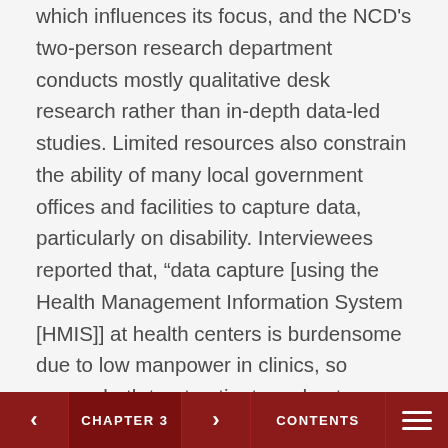which influences its focus, and the NCD's two-person research department conducts mostly qualitative desk research rather than in-depth data-led studies. Limited resources also constrain the ability of many local government offices and facilities to capture data, particularly on disability. Interviewees reported that, “data capture [using the Health Management Information System [HMIS]] at health centers is burdensome due to low manpower in clinics, so nurses both treat patients and enter HMIS data” and “the HMIS questionnaire is already big and time-consuming, the small staff at a health unit may not capture everyone”. They also commented that teachers often struggle to fulfil their responsibilities with respect to the Education Management Information System responsibilities.
< CHAPTER 3 > CONTENTS ☰